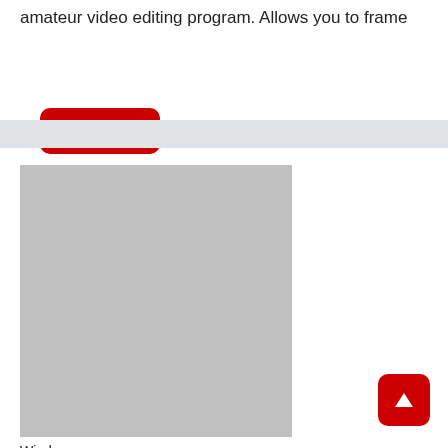amateur video editing program. Allows you to frame
Read More
[Figure (other): Horizontal light gray divider bar spanning the full width of the page]
[Figure (photo): Large gray placeholder image rectangle]
[Figure (other): Red rounded square button with upward arrow icon in bottom-right corner]
Wind...